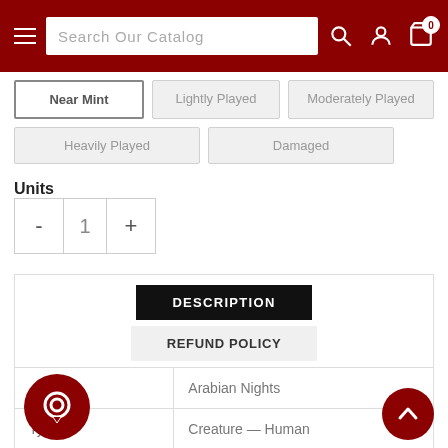Search Our Catalog
Near Mint
Lightly Played
Moderately Played
Heavily Played
Damaged
Units
DESCRIPTION
REFUND POLICY
|  |  |
| --- | --- |
|  | Arabian Nights |
| Type: | Creature — Human |